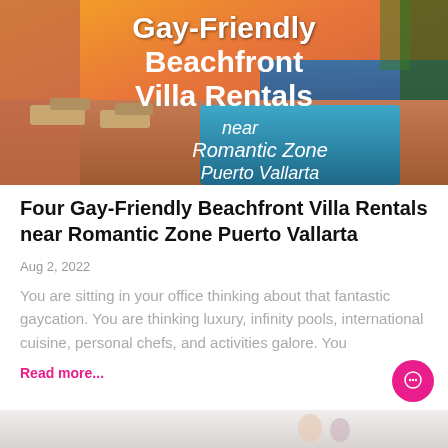[Figure (photo): Hero image of a beachfront villa with pool, lounge chairs, and ocean sunset. White bold text overlaid reads 'Gay-Friendly Beachfront Villa Rentals near Romantic Zone Puerto Vallarta']
Four Gay-Friendly Beachfront Villa Rentals near Romantic Zone Puerto Vallarta
Aug 2, 2022
You are sitting in your office thinking about that fantastic gaycation. You are thinking luxury, infinity pools, international cuisine, personal chefs, and activities galore. You
Read more...
[Figure (photo): Bottom strip showing a partial view of a next article image — white/light background with wine glasses visible]